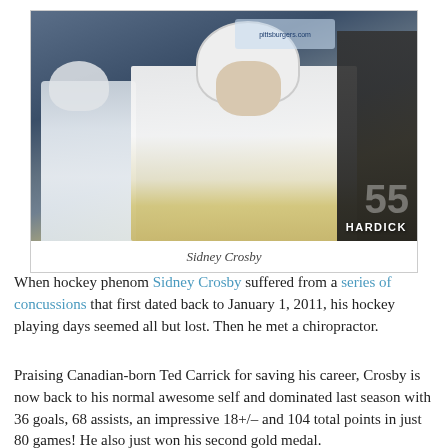[Figure (photo): Sidney Crosby in hockey gear with white helmet, wearing Pittsburgh Penguins white and gold jersey, seated on the bench at an NHL game with crowd and arena visible in the background. Watermark reads HARDICK.]
Sidney Crosby
When hockey phenom Sidney Crosby suffered from a series of concussions that first dated back to January 1, 2011, his hockey playing days seemed all but lost. Then he met a chiropractor.
Praising Canadian-born Ted Carrick for saving his career, Crosby is now back to his normal awesome self and dominated last season with 36 goals, 68 assists, an impressive 18+/- and 104 total points in just 80 games!  He also just won his second gold medal.